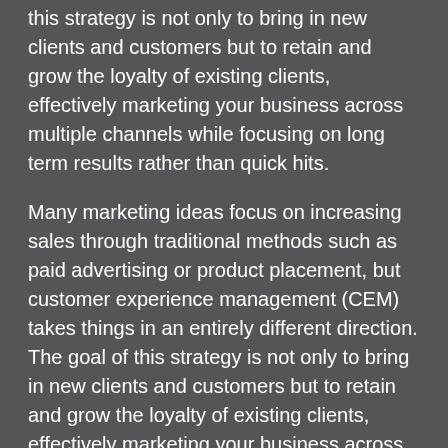this strategy is not only to bring in new clients and customers but to retain and grow the loyalty of existing clients, effectively marketing your business across multiple channels while focusing on long term results rather than quick hits.
Many marketing ideas focus on increasing sales through traditional methods such as paid advertising or product placement, but customer experience management (CEM) takes things in an entirely different direction. The goal of this strategy is not only to bring in new clients and customers but to retain and grow the loyalty of existing clients, effectively marketing your business across multiple channels while focusing on long term results rather than quick hits.
Micro-Influencers:
Despite the increasing popularity of macro-influencers